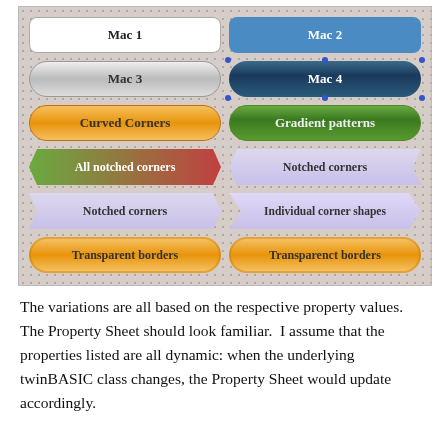[Figure (infographic): A two-column panel with dotted background showing various button/shape styles: Mac 1 (white rounded), Mac 2 (blue), Mac 3 (silver pill), Mac 4 (dark teal pill), Curved Corners (orange pill), Gradient patterns (green pill), All notched corners (green-red arrow), Notched corners (lavender arrow), Notched corners (lavender left arrow), Individual corner shapes (lavender), Transparent borders (orange pill), Transparenct borders (orange pill).]
The variations are all based on the respective property values.  The Property Sheet should look familiar.  I assume that the properties listed are all dynamic: when the underlying twinBASIC class changes, the Property Sheet would update accordingly.